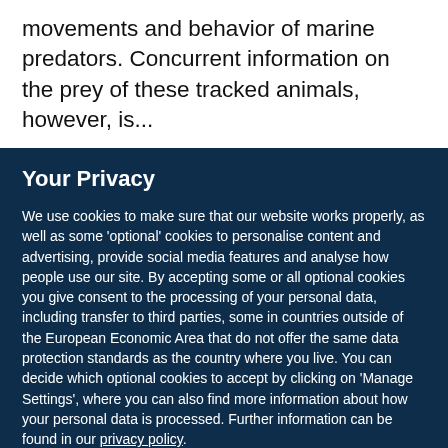movements and behavior of marine predators. Concurrent information on the prey of these tracked animals, however, is...
Your Privacy
We use cookies to make sure that our website works properly, as well as some ‘optional’ cookies to personalise content and advertising, provide social media features and analyse how people use our site. By accepting some or all optional cookies you give consent to the processing of your personal data, including transfer to third parties, some in countries outside of the European Economic Area that do not offer the same data protection standards as the country where you live. You can decide which optional cookies to accept by clicking on ‘Manage Settings’, where you can also find more information about how your personal data is processed. Further information can be found in our privacy policy.
Accept all cookies
Manage preferences